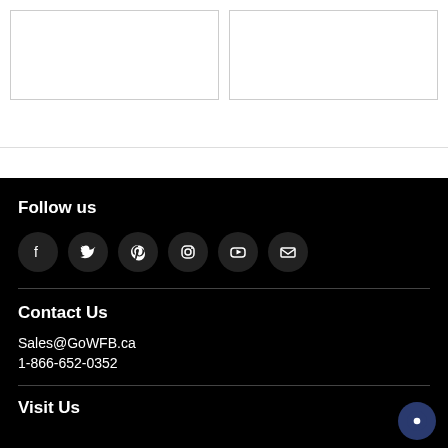[Figure (other): Two white rectangular card placeholders side by side]
Follow us
[Figure (other): Social media icons: Facebook, Twitter, Pinterest, Instagram, YouTube, Email]
Contact Us
Sales@GoWFB.ca
1-866-652-0352
Visit Us